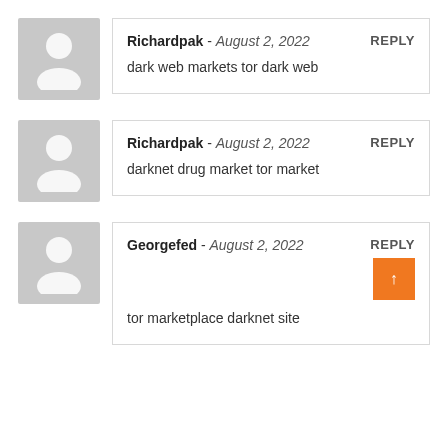Richardpak - August 2, 2022 | REPLY | dark web markets tor dark web
Richardpak - August 2, 2022 | REPLY | darknet drug market tor market
Georgefed - August 2, 2022 | REPLY | tor marketplace darknet site